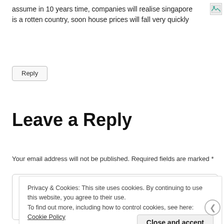assume in 10 years time, companies will realise singapore is a rotten country, soon house prices will fall very quickly
[Figure (other): Broken/missing image icon in top right corner]
Reply
Leave a Reply
Your email address will not be published. Required fields are marked *
Privacy & Cookies: This site uses cookies. By continuing to use this website, you agree to their use. To find out more, including how to control cookies, see here: Cookie Policy
Close and accept